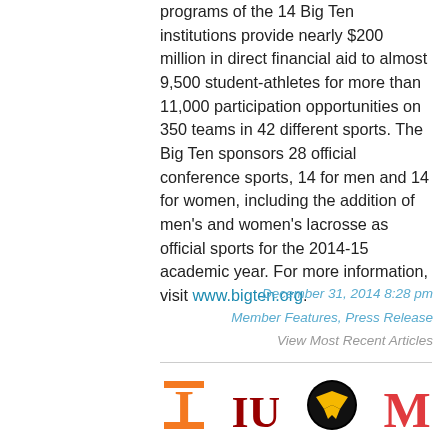programs of the 14 Big Ten institutions provide nearly $200 million in direct financial aid to almost 9,500 student-athletes for more than 11,000 participation opportunities on 350 teams in 42 different sports. The Big Ten sponsors 28 official conference sports, 14 for men and 14 for women, including the addition of men's and women's lacrosse as official sports for the 2014-15 academic year. For more information, visit www.bigten.org.
December 31, 2014 8:28 pm
Member Features, Press Release
View Most Recent Articles
[Figure (logo): Big Ten Conference member institution logos in a grid: Illinois (orange I), Indiana (crimson IU), Iowa (black Tigerhawk), Maryland (red M), Michigan (gold M), Michigan State (green Spartan helmet), Minnesota (maroon M), Nebraska (red N), Northwestern (purple N), Ohio State (red O), Penn State (blue Nittany Lion), Purdue (gold P)]